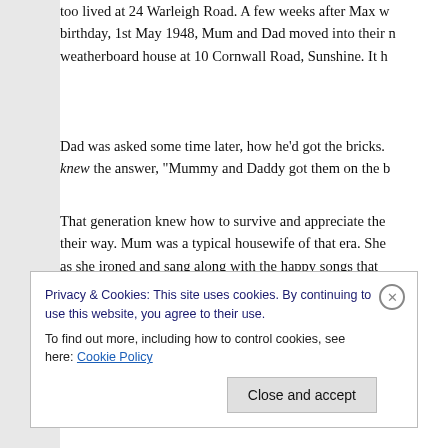too lived at 24 Warleigh Road. A few weeks after Max w... birthday, 1st May 1948, Mum and Dad moved into their n... weatherboard house at 10 Cornwall Road, Sunshine. It h...
Dad was asked some time later, how he'd got the bricks... knew the answer, "Mummy and Daddy got them on the b...
That generation knew how to survive and appreciate the... their way. Mum was a typical housewife of that era. She... as she ironed and sang along with the happy songs that... of wartime starting to disappear.
Dad and Mum were so happy. They enjoyed their garden... back to normal again. Rationing of food, clothing and go... ver...
Privacy & Cookies: This site uses cookies. By continuing to use this website, you agree to their use.
To find out more, including how to control cookies, see here: Cookie Policy
Close and accept